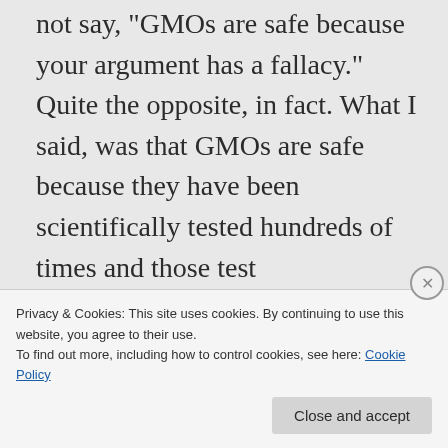not say, "GMOs are safe because your argument has a fallacy." Quite the opposite, in fact. What I said, was that GMOs are safe because they have been scientifically tested hundreds of times and those test
Privacy & Cookies: This site uses cookies. By continuing to use this website, you agree to their use. To find out more, including how to control cookies, see here: Cookie Policy